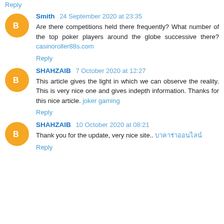Reply
Smith 24 September 2020 at 23:35
Are there competitions held there frequently? What number of the top poker players around the globe successive there? casinoroller88s.com
Reply
SHAHZAIB 7 October 2020 at 12:27
This article gives the light in which we can observe the reality. This is very nice one and gives indepth information. Thanks for this nice article. joker gaming
Reply
SHAHZAIB 10 October 2020 at 08:21
Thank you for the update, very nice site.. บาคาร่าออนไลน์
Reply